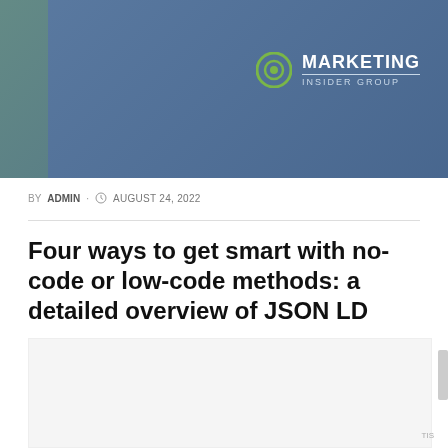[Figure (photo): Marketing Insider Group banner with blue background, green accent on left, and logo on right showing a circular icon with 'MARKETING INSIDER GROUP' text]
BY ADMIN · AUGUST 24, 2022
Four ways to get smart with no-code or low-code methods: a detailed overview of JSON LD
[Figure (other): Light gray content placeholder area below the article title]